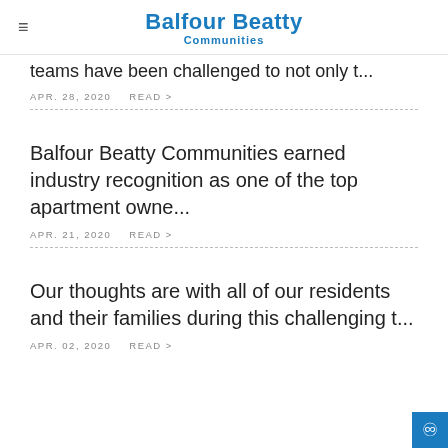Balfour Beatty Communities
teams have been challenged to not only t...
APR. 28, 2020    READ >
Balfour Beatty Communities earned industry recognition as one of the top apartment owne...
APR. 21, 2020    READ >
Our thoughts are with all of our residents and their families during this challenging t...
APR. 02, 2020    READ >